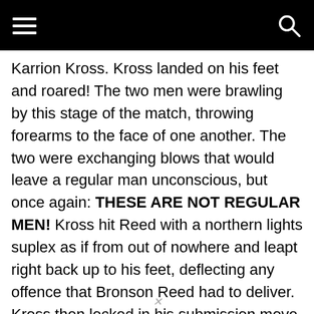Karrion Kross. Kross landed on his feet and roared! The two men were brawling by this stage of the match, throwing forearms to the face of one another. The two were exchanging blows that would leave a regular man unconscious, but once again: THESE ARE NOT REGULAR MEN! Kross hit Reed with a northern lights suplex as if from out of nowhere and leapt right back up to his feet, deflecting any offence that Bronson Reed had to deliver. Kross then locked in his submission move, the 'Kross Jacket' on to the large